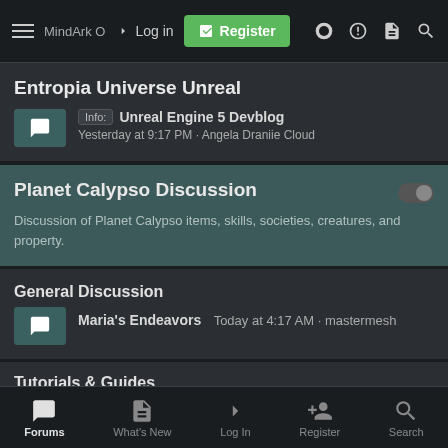Entropia Universe Forums - Navigation bar with hamburger menu, Log in, Register, and icon buttons
Entropia Universe Unreal
Info: Unreal Engine 5 Devblog · Yesterday at 9:17 PM · Angela Draniie Cloud
Planet Calypso Discussion
Discussion of Planet Calypso items, skills, societies, creatures, and property.
General Discussion
Maria's Endeavors  Today at 4:17 AM · mastermesh
Tutorials & Guides
Obtaining and Running a Shop in Entropia Universe
Forums  What's New  Log In  Register  Search